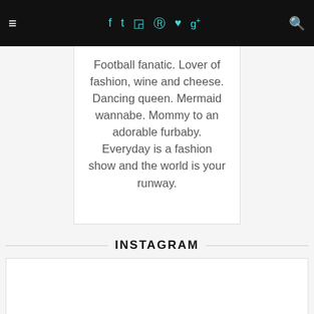≡ f t [camera] [pinterest] [heart] g+ [search]
Football fanatic. Lover of fashion, wine and cheese. Dancing queen. Mermaid wannabe. Mommy to an adorable furbaby. Everyday is a fashion show and the world is your runway.
INSTAGRAM
[Figure (other): Empty white Instagram feed placeholder box]